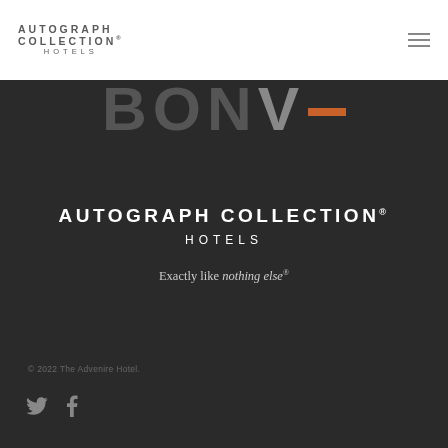[Figure (logo): Autograph Collection Hotels logo in header bar]
[Figure (other): Hamburger menu icon (three horizontal lines) in top right of header]
[Figure (other): Partial Marriott Bonvoy logo text cut off at top of dark section, with orange accent bar]
[Figure (logo): Autograph Collection Hotels full logo centered on dark background with tagline 'Exactly like nothing else']
© 2022 The Advenire Hotel.
[Figure (other): Twitter and Facebook social media icons]